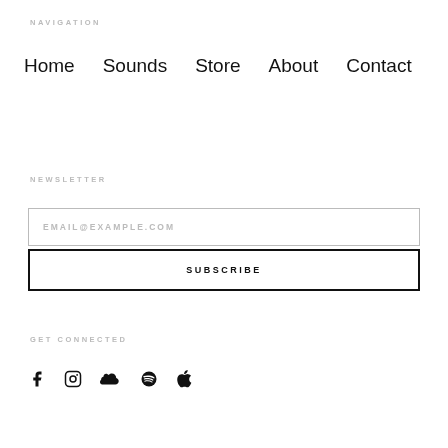NAVIGATION
Home
Sounds
Store
About
Contact
NEWSLETTER
EMAIL@EXAMPLE.COM
SUBSCRIBE
GET CONNECTED
[Figure (infographic): Social media icons: Facebook, Instagram, SoundCloud, Spotify, Apple Music]